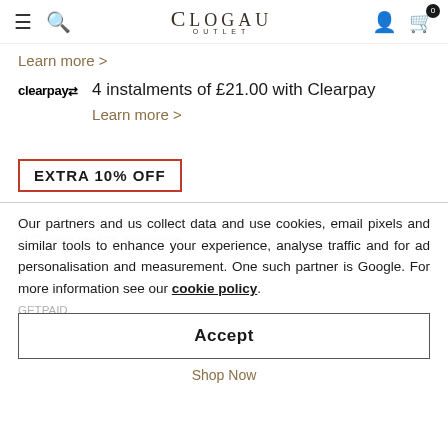Clogau Outlet — navigation bar with hamburger, search, logo, user and cart icons
Learn more >
4 instalments of £21.00 with Clearpay
Learn more >
EXTRA 10% OFF
Our partners and us collect data and use cookies, email pixels and similar tools to enhance your experience, analyse traffic and for ad personalisation and measurement. One such partner is Google. For more information see our cookie policy.
Accept
Shop Now